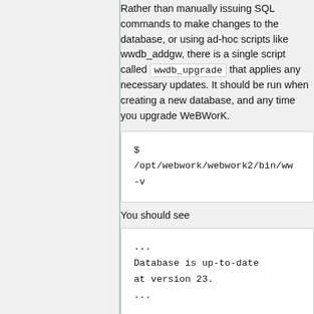Rather than manually issuing SQL commands to make changes to the database, or using ad-hoc scripts like wwdb_addgw, there is a single script called wwdb_upgrade that applies any necessary updates. It should be run when creating a new database, and any time you upgrade WeBWorK.
$ /opt/webwork/webwork2/bin/ww -v
You should see
... Database is up-to-date at version 23. ...